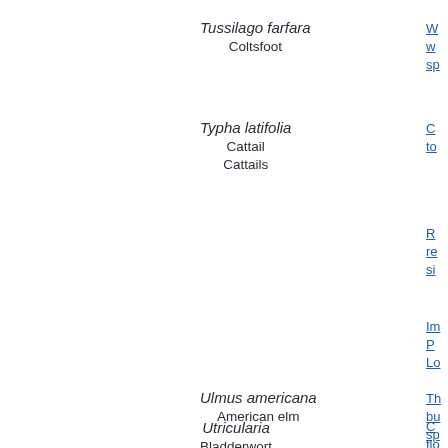Tussilago farfara
Coltsfoot
Typha latifolia
Cattail
Cattails
Ulmus americana
American elm
Utricularia
Bladderwort